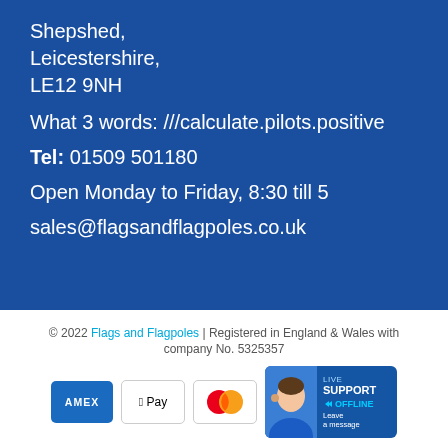Shepshed,
Leicestershire,
LE12 9NH
What 3 words: ///calculate.pilots.positive
Tel: 01509 501180
Open Monday to Friday, 8:30 till 5
sales@flagsandflagpoles.co.uk
© 2022 Flags and Flagpoles | Registered in England & Wales with company No. 5325357
[Figure (infographic): Payment method icons: American Express, Apple Pay, Mastercard; and a Live Support OFFLINE widget showing a person with headset and text 'Leave a message']